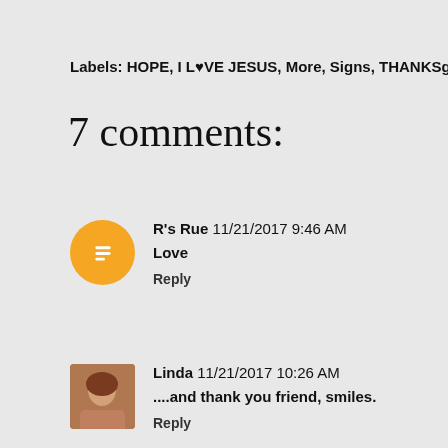Labels: HOPE, I L♥VE JESUS, More, Signs, THANKSgiving 2017, Wo
7 comments:
R's Rue  11/21/2017 9:46 AM
Love
Reply
Linda  11/21/2017 10:26 AM
....and thank you friend, smiles.
Reply
Visits With Mary  11/21/2017 10:48 AM
Thank you Deb! ((hugs))